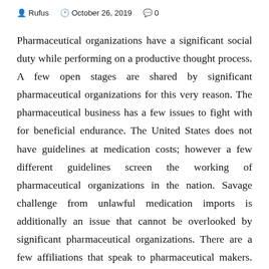Rufus   October 26, 2019   0
Pharmaceutical organizations have a significant social duty while performing on a productive thought process. A few open stages are shared by significant pharmaceutical organizations for this very reason. The pharmaceutical business has a few issues to fight with for beneficial endurance. The United States does not have guidelines at medication costs; however a few different guidelines screen the working of pharmaceutical organizations in the nation. Savage challenge from unlawful medication imports is additionally an issue that cannot be overlooked by significant pharmaceutical organizations. There are a few affiliations that speak to pharmaceutical makers. The International